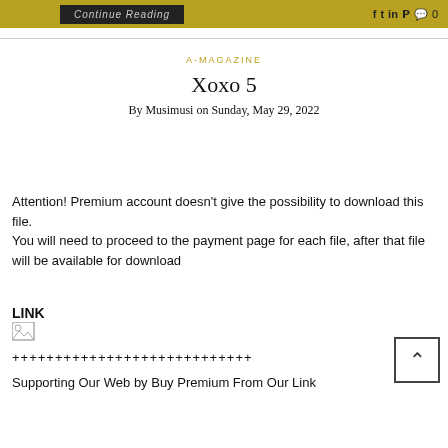Continue Reading  in  0
A-MAGAZINE
Xoxo 5
By Musimusi on Sunday, May 29, 2022
Attention! Premium account doesn't give the possibility to download this file.
You will need to proceed to the payment page for each file, after that file will be available for download
LINK
[Figure (other): Broken image icon]
++++++++++++++++++++++++++++
Supporting Our Web by Buy Premium From Our Link